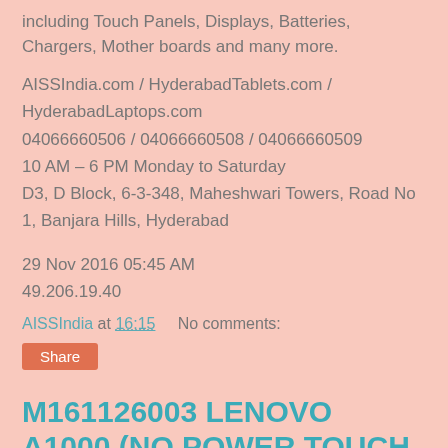including Touch Panels, Displays, Batteries, Chargers, Mother boards and many more.
AISSIndia.com / HyderabadTablets.com / HyderabadLaptops.com
04066660506 / 04066660508 / 04066660509
10 AM – 6 PM Monday to Saturday
D3, D Block, 6-3-348, Maheshwari Towers, Road No 1, Banjara Hills, Hyderabad
29 Nov 2016 05:45 AM
49.206.19.40
AISSIndia at 16:15    No comments:
Share
M161126003 LENOVO A1000 (NO POWER TOUCH BROKEN NO VOLUME BUTTON CHARGING PIN PROBLEM)